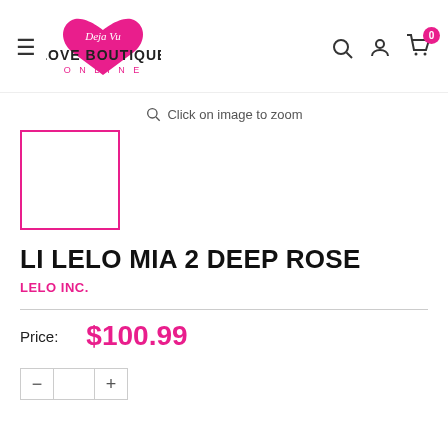Deja Vu Love Boutique Online — navigation header with search, account, and cart icons
Click on image to zoom
[Figure (photo): Product thumbnail image placeholder — empty white box with pink border]
LI LELO MIA 2 DEEP ROSE
LELO INC.
Price: $100.99